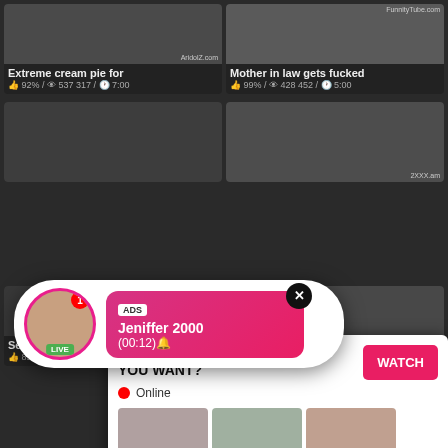[Figure (screenshot): Adult video website screenshot with thumbnails, titles, and overlay ads]
Extreme cream pie for
92% / 537 317 / 7:00
Mother in law gets fucked
99% / 428 452 / 5:00
ADS
Jeniffer 2000
(00:12)🔔
WHAT DO YOU WANT?
Online
Cumming, ass fucking, squirt or...
• ADS